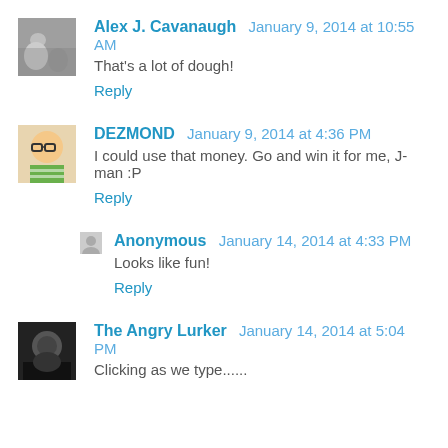Alex J. Cavanaugh  January 9, 2014 at 10:55 AM
That's a lot of dough!
Reply
DEZMOND  January 9, 2014 at 4:36 PM
I could use that money. Go and win it for me, J-man :P
Reply
Anonymous  January 14, 2014 at 4:33 PM
Looks like fun!
Reply
The Angry Lurker  January 14, 2014 at 5:04 PM
Clicking as we type......